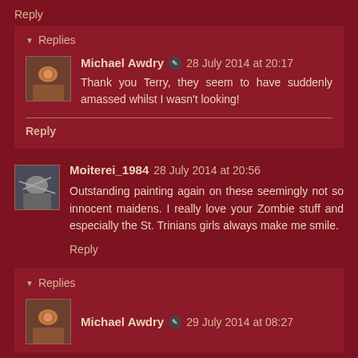Reply
Replies
Michael Awdry  28 July 2014 at 20:17
Thank you Terry, they seem to have suddenly amassed whilst I wasn't looking!
Reply
Moiterei_1984  28 July 2014 at 20:56
Outstanding painting again on these seemingly not so innocent maidens. I really love your Zombie stuff and especially the St. Trinians girls always make me smile.
Reply
Replies
Michael Awdry  29 July 2014 at 08:27